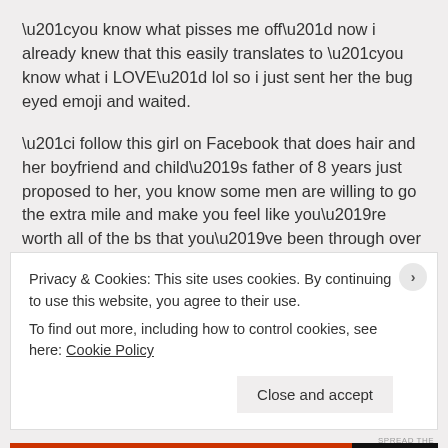“you know what pisses me off” now i already knew that this easily translates to “you know what i LOVE” lol so i just sent her the bug eyed emoji and waited.
“i follow this girl on Facebook that does hair and her boyfriend and child’s father of 8 years just proposed to her, you know some men are willing to go the extra mile and make you feel like you’re worth all of the bs that you’ve been through over the years!”
this sparked up a lukewarm (i won’t go as far as to say that it got heated) discussion about our outlook on men, and when
Privacy & Cookies: This site uses cookies. By continuing to use this website, you agree to their use.
To find out more, including how to control cookies, see here: Cookie Policy
Close and accept